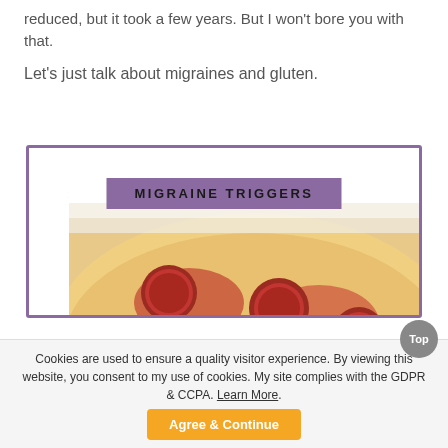reduced, but it took a few years. But I won't bore you with that.
Let's just talk about migraines and gluten.
[Figure (photo): A close-up photo of a pizza with pepperoni, cheese, tomatoes, and a basil leaf, shown inside a purple-bordered card with a 'MIGRAINE TRIGGERS' label at the top.]
Cookies are used to ensure a quality visitor experience. By viewing this website, you consent to my use of cookies. My site complies with the GDPR & CCPA. Learn More.
Agree & Continue